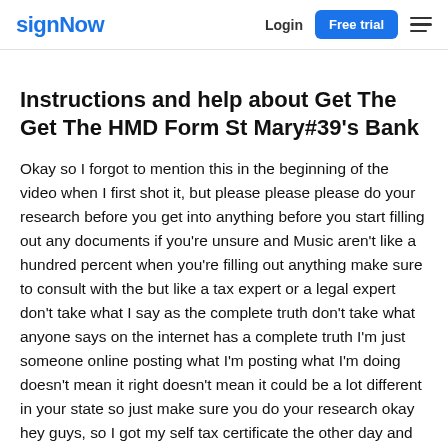signNow | Login | Free trial
Instructions and help about Get The Get The HMD Form St Mary#39’s Bank
Okay so I forgot to mention this in the beginning of the video when I first shot it, but please please please do your research before you get into anything before you start filling out any documents if you're unsure and Music aren't like a hundred percent when you're filling out anything make sure to consult with the but like a tax expert or a legal expert don't take what I say as the complete truth don't take what anyone says on the internet has a complete truth I'm just someone online posting what I'm posting what I'm doing doesn't mean it right doesn't mean it could be a lot different in your state so just make sure you do your research okay hey guys, so I got my self tax certificate the other day and basically what a sales tax